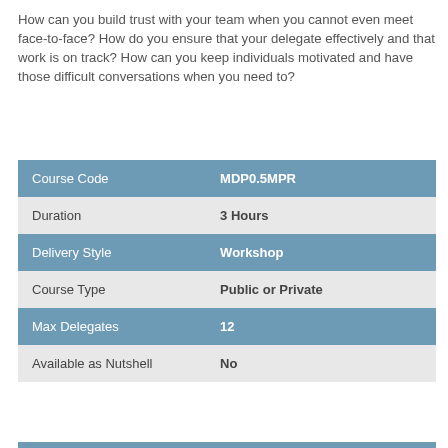How can you build trust with your team when you cannot even meet face-to-face? How do you ensure that your delegate effectively and that work is on track? How can you keep individuals motivated and have those difficult conversations when you need to?
|  |  |
| --- | --- |
| Course Code | MDP0.5MPR |
| Duration | 3 Hours |
| Delivery Style | Workshop |
| Course Type | Public or Private |
| Max Delegates | 12 |
| Available as Nutshell | No |